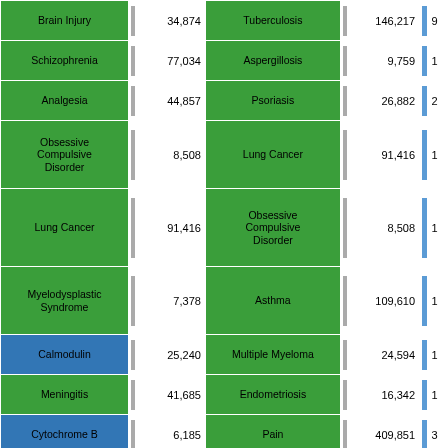| Disease (Left) | Count (Left) | Bar (Left) | Disease (Right) | Count (Right) | Bar (Right) | Extra |
| --- | --- | --- | --- | --- | --- | --- |
| Brain Injury | 34,874 |  | Tuberculosis | 146,217 |  | 9 |
| Schizophrenia | 77,034 |  | Aspergillosis | 9,759 |  | 1 |
| Analgesia | 44,857 |  | Psoriasis | 26,882 |  | 2 |
| Obsessive Compulsive Disorder | 8,508 |  | Lung Cancer | 91,416 |  | 1 |
| Lung Cancer | 91,416 |  | Obsessive Compulsive Disorder | 8,508 |  | 1 |
| Myelodysplastic Syndrome | 7,378 |  | Asthma | 109,610 |  | 1 |
| Calmodulin | 25,240 |  | Multiple Myeloma | 24,594 |  | 1 |
| Meningitis | 41,685 |  | Endometriosis | 16,342 |  | 1 |
| Cytochrome B | 6,185 |  | Pain | 409,851 |  | 3 |
| Carcinoma | 433,099 |  | Anxiety Disorder | 8,985 |  | 5 |